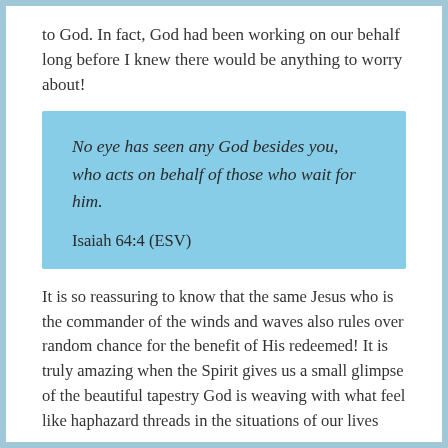to God. In fact, God had been working on our behalf long before I knew there would be anything to worry about!
No eye has seen any God besides you, who acts on behalf of those who wait for him.

Isaiah 64:4 (ESV)
It is so reassuring to know that the same Jesus who is the commander of the winds and waves also rules over random chance for the benefit of His redeemed! It is truly amazing when the Spirit gives us a small glimpse of the beautiful tapestry God is weaving with what feel like haphazard threads in the situations of our lives and the lives of others.
God uses many hands, many means, and many channels to